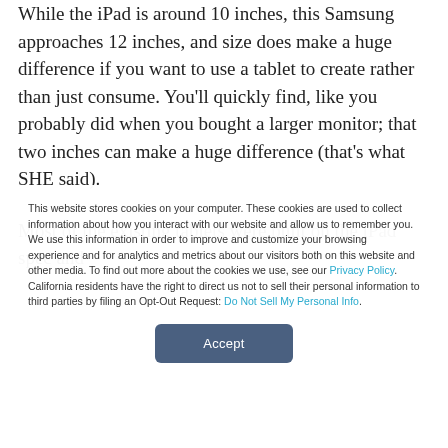While the iPad is around 10 inches, this Samsung approaches 12 inches, and size does make a huge difference if you want to use a tablet to create rather than just consume. You'll quickly find, like you probably did when you bought a larger monitor; that two inches can make a huge difference (that's what SHE said).
Most of the existing tablets were built on the iPad spec and
This website stores cookies on your computer. These cookies are used to collect information about how you interact with our website and allow us to remember you. We use this information in order to improve and customize your browsing experience and for analytics and metrics about our visitors both on this website and other media. To find out more about the cookies we use, see our Privacy Policy. California residents have the right to direct us not to sell their personal information to third parties by filing an Opt-Out Request: Do Not Sell My Personal Info.
Accept